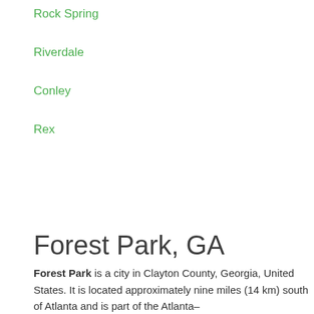Rock Spring
Riverdale
Conley
Rex
Forest Park, GA
Forest Park is a city in Clayton County, Georgia, United States. It is located approximately nine miles (14 km) south of Atlanta and is part of the Atlanta–